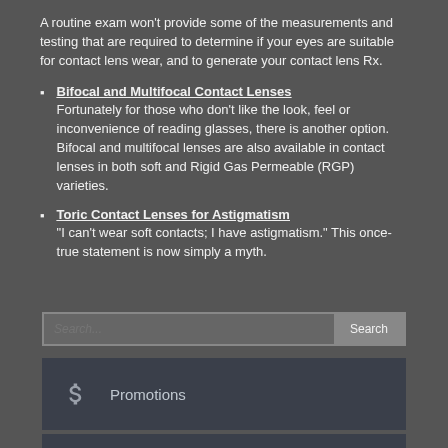A routine exam won't provide some of the measurements and testing that are required to determine if your eyes are suitable for contact lens wear, and to generate your contact lens Rx.
Bifocal and Multifocal Contact Lenses
Fortunately for those who don't like the look, feel or inconvenience of reading glasses, there is another option. Bifocal and multifocal lenses are also available in contact lenses in both soft and Rigid Gas Permeable (RGP) varieties.
Toric Contact Lenses for Astigmatism
"I can't wear soft contacts; I have astigmatism." This once-true statement is now simply a myth.
Search
Promotions
Contact Form